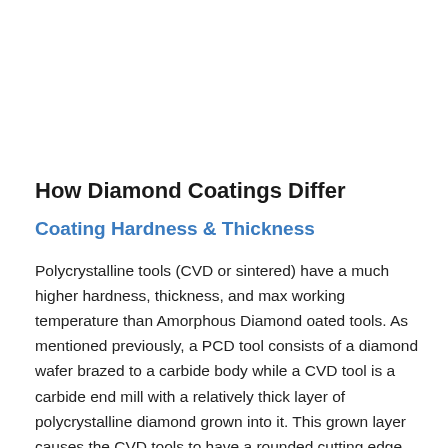How Diamond Coatings Differ
Coating Hardness & Thickness
Polycrystalline tools (CVD or sintered) have a much higher hardness, thickness, and max working temperature than Amorphous Diamond oated tools. As mentioned previously, a PCD tool consists of a diamond wafer brazed to a carbide body while a CVD tool is a carbide end mill with a relatively thick layer of polycrystalline diamond grown into it. This grown layer causes the CVD tools to have a rounded cutting edge compared to PCD and Amorphous Diamond coated